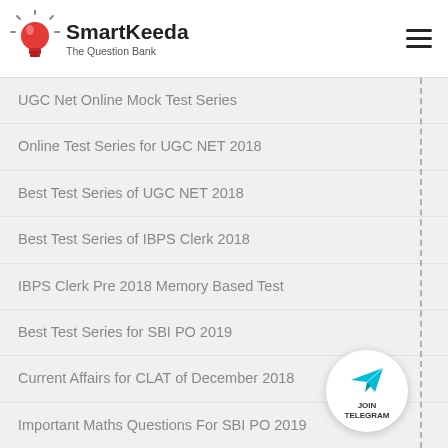SmartKeeda — The Question Bank
UGC Net Online Mock Test Series
Online Test Series for UGC NET 2018
Best Test Series of UGC NET 2018
Best Test Series of IBPS Clerk 2018
IBPS Clerk Pre 2018 Memory Based Test
Best Test Series for SBI PO 2019
Current Affairs for CLAT of December 2018
Important Maths Questions For SBI PO 2019
Reasoning Questions for SBI PO 2019
English Questions for SBI PO 2019
How to prepare for CLAT 2019
[Figure (logo): JOIN TELEGRAM circular button with cyan paper plane icon]